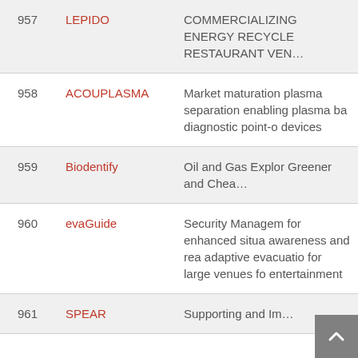| # | Name | Description |
| --- | --- | --- |
| 957 | LEPIDO | COMMERCIALIZING ENERGY RECYCLE RESTAURANT VEN… |
| 958 | ACOUPLASMA | Market maturation plasma separation enabling plasma ba diagnostic point-o devices |
| 959 | Biodentify | Oil and Gas Explor Greener and Chea… |
| 960 | evaGuide | Security Managem for enhanced situa awareness and rea adaptive evacuatio for large venues fo entertainment |
| 961 | SPEAR | Supporting and Im… |